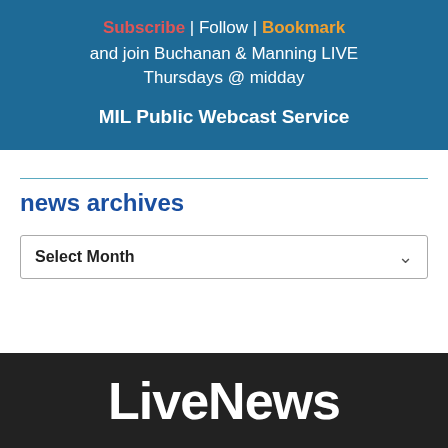[Figure (other): Blue banner with Subscribe, Follow, Bookmark links, join Buchanan & Manning LIVE Thursdays @ midday, and MIL Public Webcast Service text]
news archives
Select Month
LiveNews